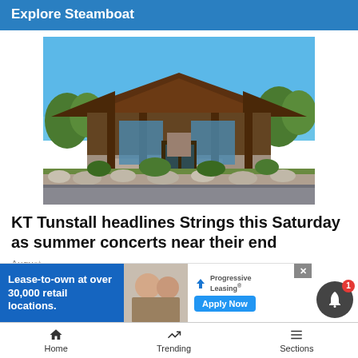Explore Steamboat
[Figure (photo): Exterior of a rustic mountain lodge building with wooden beams, stone accents, and green landscaping under a blue sky]
KT Tunstall headlines Strings this Saturday as summer concerts near their end
August
[Figure (screenshot): Advertisement: Lease-to-own at over 30,000 retail locations. Progressive Leasing. Apply Now button.]
Home   Trending   Sections